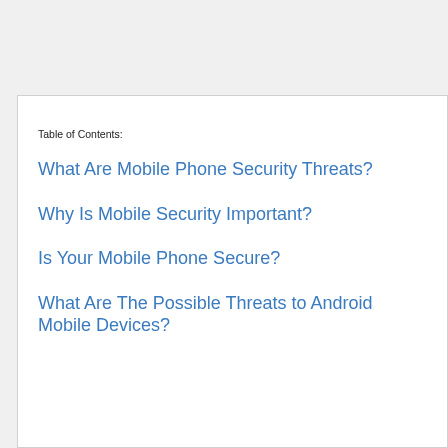Table of Contents:
What Are Mobile Phone Security Threats?
Why Is Mobile Security Important?
Is Your Mobile Phone Secure?
What Are The Possible Threats to Android Mobile Devices?